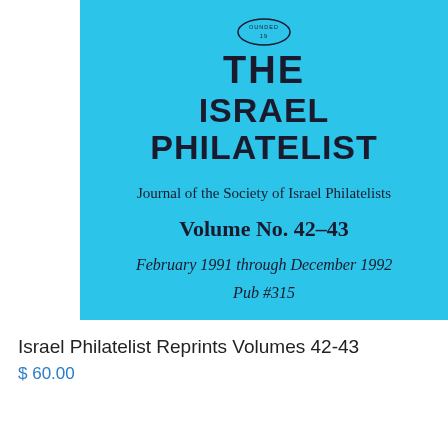[Figure (illustration): Cover of 'The Israel Philatelist' journal, Volume No. 42-43, on a light blue background, with a circular badge/seal at the top.]
THE ISRAEL PHILATELIST
Journal of the Society of Israel Philatelists
Volume No. 42-43
February 1991 through December 1992
Pub #315
Israel Philatelist Reprints Volumes 42-43
$ 60.00